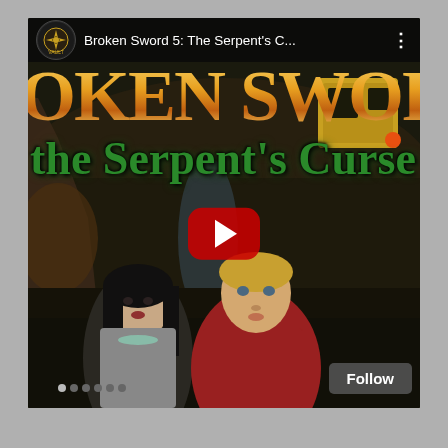[Figure (screenshot): YouTube video thumbnail and interface showing 'Broken Sword 5: The Serpent's C...' with game cover art featuring two characters (dark-haired woman and blonde man in red shirt), game title text 'BROKEN SWORD' in gold and 'the Serpent's Curse' in green, a red YouTube play button overlay, channel avatar, video title in top bar, and a Follow button at bottom right.]